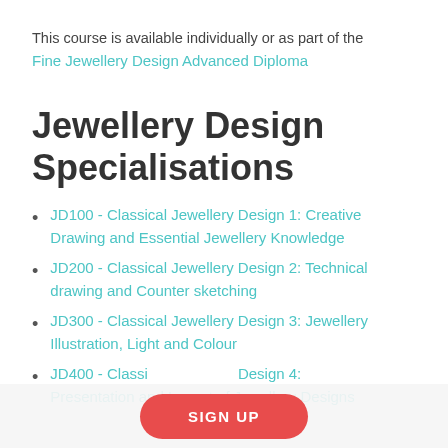This course is available individually or as part of the
Fine Jewellery Design Advanced Diploma
Jewellery Design Specialisations
JD100 - Classical Jewellery Design 1: Creative Drawing and Essential Jewellery Knowledge
JD200 - Classical Jewellery Design 2: Technical drawing and Counter sketching
JD300 - Classical Jewellery Design 3: Jewellery Illustration, Light and Colour
JD400 - Classical Jewellery Design 4: Presentation and Layout of Jewellery Designs
SIGN UP